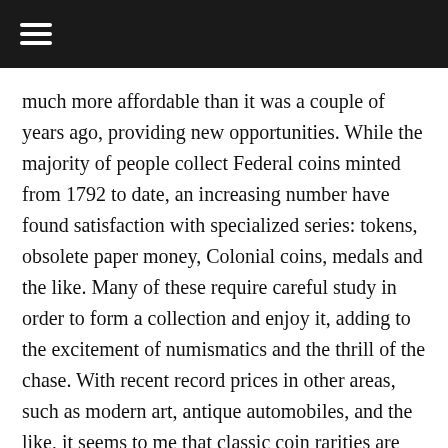☰
much more affordable than it was a couple of years ago, providing new opportunities. While the majority of people collect Federal coins minted from 1792 to date, an increasing number have found satisfaction with specialized series: tokens, obsolete paper money, Colonial coins, medals and the like. Many of these require careful study in order to form a collection and enjoy it, adding to the excitement of numismatics and the thrill of the chase. With recent record prices in other areas, such as modern art, antique automobiles, and the like, it seems to me that classic coin rarities are underpriced. Rare coins have an advantage that most other collectibles do not: they can be easily shipped and stored; they can be held privately without special facilities other than a safe deposit box, and when sold, there is an active market. The future is unknown, of course, but a fine collection of coins, tokens, medals or paper money formed